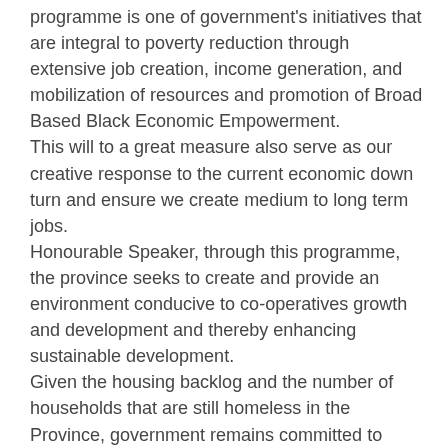programme is one of government's initiatives that are integral to poverty reduction through extensive job creation, income generation, and mobilization of resources and promotion of Broad Based Black Economic Empowerment.
This will to a great measure also serve as our creative response to the current economic down turn and ensure we create medium to long term jobs.
Honourable Speaker, through this programme, the province seeks to create and provide an environment conducive to co-operatives growth and development and thereby enhancing sustainable development.
Given the housing backlog and the number of households that are still homeless in the Province, government remains committed to alleviate the pressures of the housing crisis through our persistent endeavours to eradicate the housing backlog and provide a home for all.
The Northern Cape has received R167 million from the national allocation for 2008/09 financial year for housing development. From this allocation 2007 houses were constructed and 1428